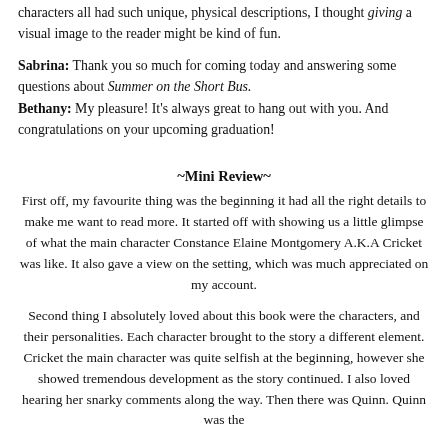characters all had such unique, physical descriptions, I thought giving a visual image to the reader might be kind of fun.
Sabrina: Thank you so much for coming today and answering some questions about Summer on the Short Bus.
Bethany: My pleasure! It's always great to hang out with you. And congratulations on your upcoming graduation!
~Mini Review~
First off, my favourite thing was the beginning it had all the right details to make me want to read more. It started off with showing us a little glimpse of what the main character Constance Elaine Montgomery A.K.A Cricket was like. It also gave a view on the setting, which was much appreciated on my account.
Second thing I absolutely loved about this book were the characters, and their personalities. Each character brought to the story a different element. Cricket the main character was quite selfish at the beginning, however she showed tremendous development as the story continued. I also loved hearing her snarky comments along the way. Then there was Quinn. Quinn was the